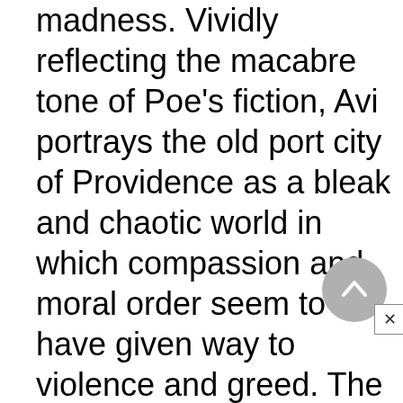madness. Vividly reflecting the macabre tone of Poe's fiction, Avi portrays the old port city of Providence as a bleak and chaotic world in which compassion and moral order seem to have given way to violence and greed. The character Poe, with his morbid imagination, makes an apt detective in this realm until it becomes clear that he wants the "story" of Edmund's family to end tragically. Edmund's plight is a harsh one, relying on Poe as the only adult who can help him,